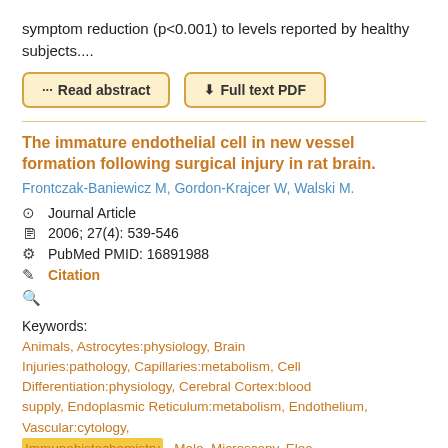symptom reduction (p<0.001) to levels reported by healthy subjects....
[Figure (other): Two buttons: '... Read abstract' and a download icon 'Full text PDF', styled with golden border and background.]
The immature endothelial cell in new vessel formation following surgical injury in rat brain.
Frontczak-Baniewicz M, Gordon-Krajcer W, Walski M.
Journal Article
2006; 27(4): 539-546
PubMed PMID: 16891988
Citation
Keywords: Animals, Astrocytes:physiology, Brain Injuries:pathology, Capillaries:metabolism, Cell Differentiation:physiology, Cerebral Cortex:blood supply, Endoplasmic Reticulum:metabolism, Endothelium, Vascular:cytology, Immunohistochemistry , Male, Microscopy, Elec.
OBJECTIVES: We investigated neovasculatization in the cerebral